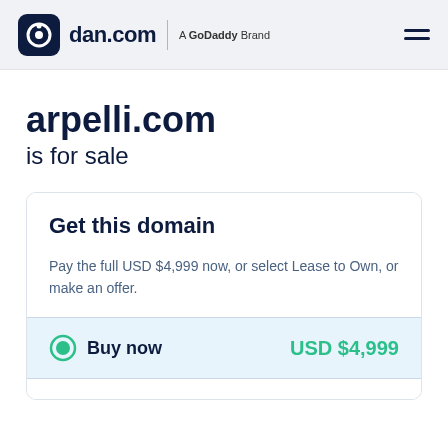dan.com | A GoDaddy Brand
arpelli.com is for sale
Get this domain
Pay the full USD $4,999 now, or select Lease to Own, or make an offer.
Buy now   USD $4,999